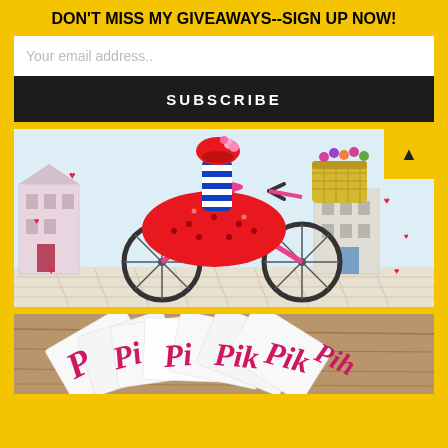DON'T MISS MY GIVEAWAYS--SIGN UP NOW!
Your email address..
SUBSCRIBE
[Figure (illustration): Illustration of a woman in a red polka-dot dress and striped top riding a pink bicycle through a European city street. She has a yellow wicker basket with flowers on the front of the bike. Red hearts are scattered around. Background shows pastel-colored buildings.]
[Figure (photo): Photo of multiple white cards or booklets fanned out on a wooden surface. The cards have pink cursive lettering visible, partially showing letters that appear to spell 'Pink' or similar.]